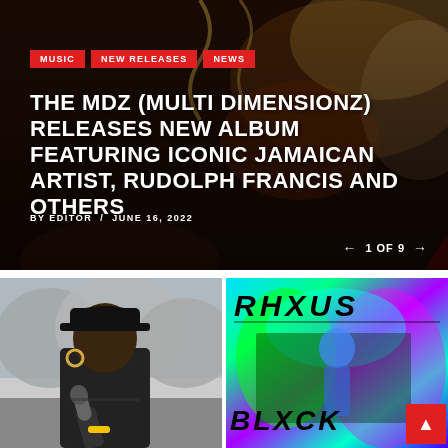[Figure (photo): Hero image: person at a piano or musical setting, dark warm tones, serves as background for headline]
MUSIC
NEW RELEASES
NEWS
THE MDZ (MULTI DIMENSIONZ) RELEASES NEW ALBUM FEATURING ICONIC JAMAICAN ARTIST, RUDOLPH FRANCIS AND OTHERS
BY EDITOR  /  JUNE 16, 2022
1 OF 9
[Figure (photo): Black and white photo of a woman performing/singing into a microphone outdoors, wearing a black cap and black shirt, with a yellow bracelet]
[Figure (photo): Colorful psychedelic/infrared image with text RHXUS at top and BLXCK at bottom, featuring a figure in the center against a colorful background]